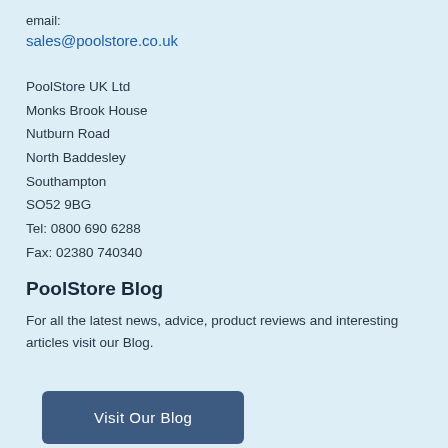email:
sales@poolstore.co.uk
PoolStore UK Ltd
Monks Brook House
Nutburn Road
North Baddesley
Southampton
SO52 9BG
Tel: 0800 690 6288
Fax: 02380 740340
PoolStore Blog
For all the latest news, advice, product reviews and interesting articles visit our Blog.
Visit Our Blog